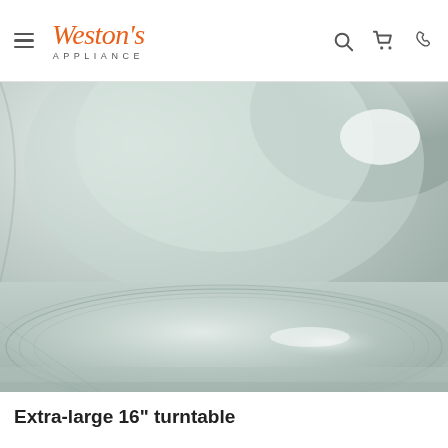Weston's Appliance
[Figure (photo): Close-up interior view of a microwave oven showing a large circular glass turntable plate on the microwave floor, with reflective light on the interior walls.]
Extra-large 16" turntable